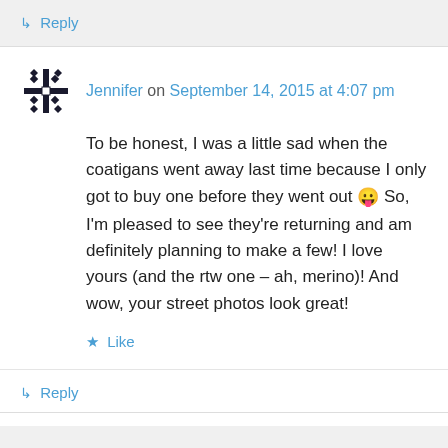↳ Reply
Jennifer on September 14, 2015 at 4:07 pm
To be honest, I was a little sad when the coatigans went away last time because I only got to buy one before they went out 😛 So, I'm pleased to see they're returning and am definitely planning to make a few! I love yours (and the rtw one – ah, merino)! And wow, your street photos look great!
★ Like
↳ Reply